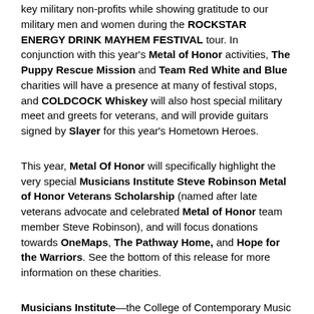key military non-profits while showing gratitude to our military men and women during the ROCKSTAR ENERGY DRINK MAYHEM FESTIVAL tour. In conjunction with this year's Metal of Honor activities, The Puppy Rescue Mission and Team Red White and Blue charities will have a presence at many of festival stops, and COLDCOCK Whiskey will also host special military meet and greets for veterans, and will provide guitars signed by Slayer for this year's Hometown Heroes.
This year, Metal Of Honor will specifically highlight the very special Musicians Institute Steve Robinson Metal of Honor Veterans Scholarship (named after late veterans advocate and celebrated Metal of Honor team member Steve Robinson), and will focus donations towards OneMaps, The Pathway Home, and Hope for the Warriors. See the bottom of this release for more information on these charities.
Musicians Institute—the College of Contemporary Music